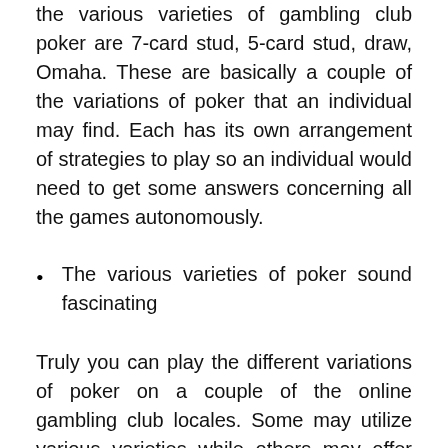the various varieties of gambling club poker are 7-card stud, 5-card stud, draw, Omaha. These are basically a couple of the variations of poker that an individual may find. Each has its own arrangement of strategies to play so an individual would need to get some answers concerning all the games autonomously.
The various varieties of poker sound fascinating
Truly you can play the different variations of poker on a couple of the online gambling club locales. Some may utilize various varieties while others may offer simple online poker; it essentially depends on the on-line gambling club that you select to use. So in the event that you need a variation of poker it would positively be an extraordinary thought to look for a web based betting foundation that has really gotten the various